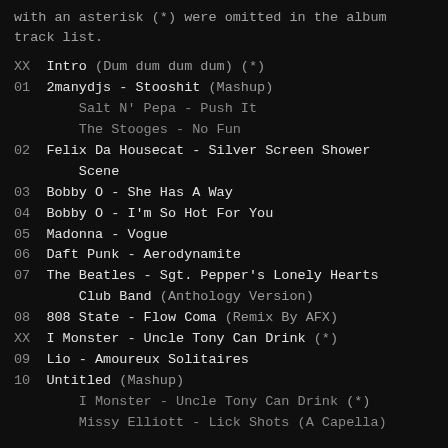with an asterisk (*) were omitted in the album track list.
XX  Intro (Dum dum dum dum) (*)
01  2manydjs - Stooshit (Mashup)
        Salt N' Pepa - Push It
        The Stooges - No Fun
02  Felix Da Housecat - Silver Screen Shower Scene
03  Bobby O - She Has A Way
04  Bobby O - I'm So Hot For You
05  Madonna - Vogue
06  Daft Punk - Aerodynamite
07  The Beatles - Sgt. Pepper's Lonely Hearts Club Band (Anthology Version)
08  808 State - Flow Coma (Remix By AFX)
XX  I Monster - Uncle Tony Can Drink (*)
09  Lio - Amoureux Solitaires
10  Untitled (Mashup)
        I Monster - Uncle Tony Can Drink (*)
        Missy Elliott - Lick Shots (A Capella)